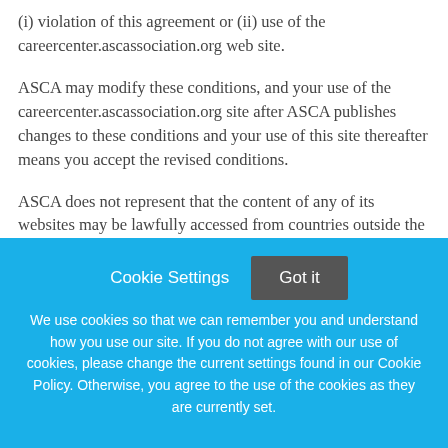(i) violation of this agreement or (ii) use of the careercenter.ascassociation.org web site.
ASCA may modify these conditions, and your use of the careercenter.ascassociation.org site after ASCA publishes changes to these conditions and your use of this site thereafter means you accept the revised conditions.
ASCA does not represent that the content of any of its websites may be lawfully accessed from countries outside the United States or by foreign nationals wherever located. Access
Cookie Settings  Got it
We use cookies so that we can remember you and understand how you use our site. If you do not agree with our use of cookies, please change the current settings found in our Cookie Policy. Otherwise, you agree to the use of the cookies as they are currently set.